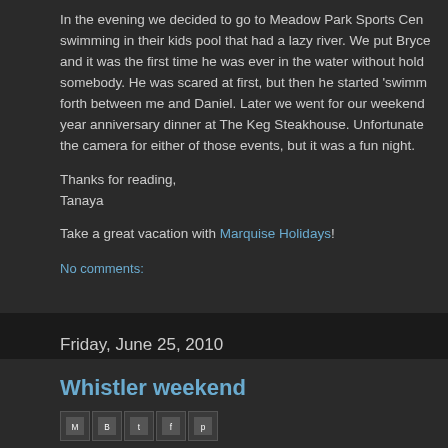In the evening we decided to go to Meadow Park Sports Cen... swimming in their kids pool that had a lazy river. We put Bryce and it was the first time he was ever in the water without hold... somebody. He was scared at first, but then he started 'swimm... forth between me and Daniel. Later we went for our weekend year anniversary dinner at The Keg Steakhouse. Unfortunate... the camera for either of those events, but it was a fun night.
Thanks for reading,
Tanaya
Take a great vacation with Marquise Holidays!
No comments:
Friday, June 25, 2010
Whistler weekend